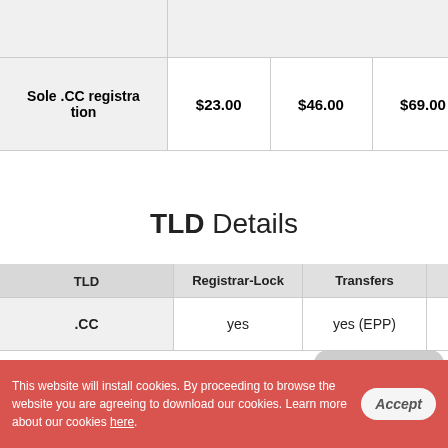|  | 1 Year | 2 Years | 3 Years | 4 Years | 5 Years |
| --- | --- | --- | --- | --- | --- |
| Sole .CC registration | $23.00 | $46.00 | $69.00 | $92.00 | $115.00 |
TLD Details
| TLD | Registrar-Lock | Transfers | Edit WHOIS | ID |
| --- | --- | --- | --- | --- |
| .CC | yes | yes (EPP) | yes |  |
Registering .CC Domain Names
This website will install cookies. By proceeding to browse the website you are agreeing to download our cookies. Learn more about our cookies here.